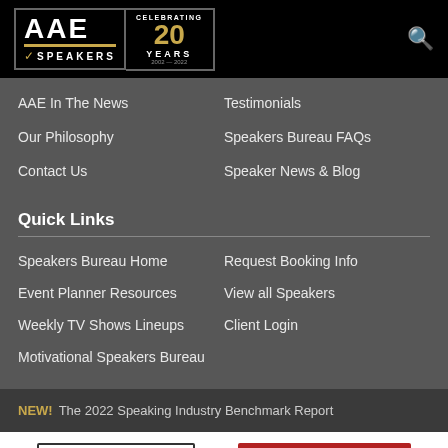[Figure (logo): AAE Speakers logo with 'Celebrating 20 Years' badge and search icon in black header]
AAE In The News
Testimonials
Our Philosophy
Speakers Bureau FAQs
Contact Us
Speaker News & Blog
Quick Links
Speakers Bureau Home
Request Booking Info
Event Planner Resources
View all Speakers
Weekly TV Shows Lineups
Client Login
Motivational Speakers Bureau
NEW! The 2022 Speaking Industry Benchmark Report
1.800.698.2536
CONTACT US